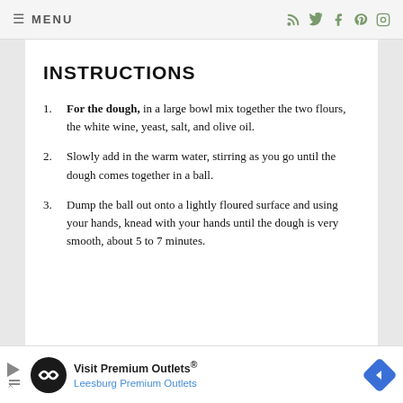MENU
INSTRUCTIONS
For the dough, in a large bowl mix together the two flours, the white wine, yeast, salt, and olive oil.
Slowly add in the warm water, stirring as you go until the dough comes together in a ball.
Dump the ball out onto a lightly floured surface and using your hands, knead with your hands until the dough is very smooth, about 5 to 7 minutes.
Visit Premium Outlets® Leesburg Premium Outlets